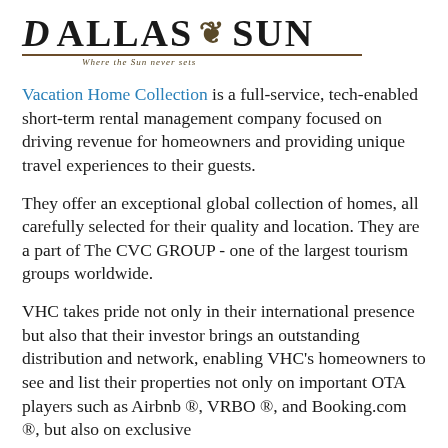[Figure (logo): Dallas Sun logo with lion crest, decorative rule, and tagline 'Where the Sun never sets']
Vacation Home Collection is a full-service, tech-enabled short-term rental management company focused on driving revenue for homeowners and providing unique travel experiences to their guests.
They offer an exceptional global collection of homes, all carefully selected for their quality and location. They are a part of The CVC GROUP - one of the largest tourism groups worldwide.
VHC takes pride not only in their international presence but also that their investor brings an outstanding distribution and network, enabling VHC's homeowners to see and list their properties not only on important OTA players such as Airbnb ®, VRBO ®, and Booking.com ®, but also on exclusive